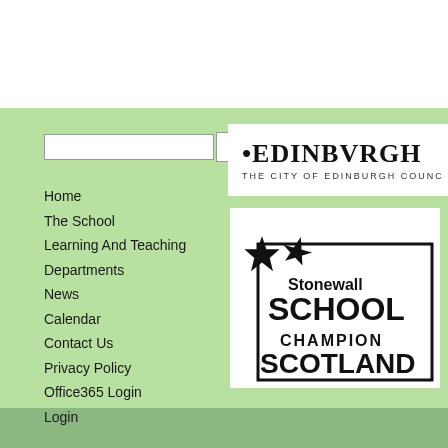[Figure (logo): Edinburgh - The City of Edinburgh Council logo, white background with dot and bold serif text]
Home
The School
Learning And Teaching
Departments
News
Calendar
Contact Us
Privacy Policy
Office365 Login
Login
[Figure (logo): Stonewall School Champion Scotland badge with star graphic and bold text on white background with decorative border]